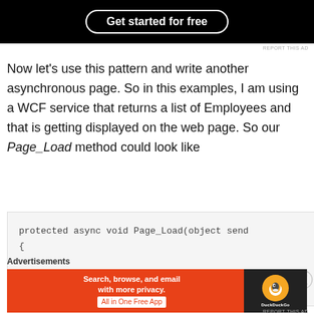[Figure (screenshot): Top advertisement banner with black background and 'Get started for free' button in white rounded border]
Now let's use this pattern and write another asynchronous page. So in this examples, I am using a WCF service that returns a list of Employees and that is getting displayed on the web page. So our Page_Load method could look like
[Figure (screenshot): Code block showing: protected async void Page_Load(object send followed by opening brace {]
Advertisements
[Figure (screenshot): DuckDuckGo advertisement: Search, browse, and email with more privacy. All in One Free App]